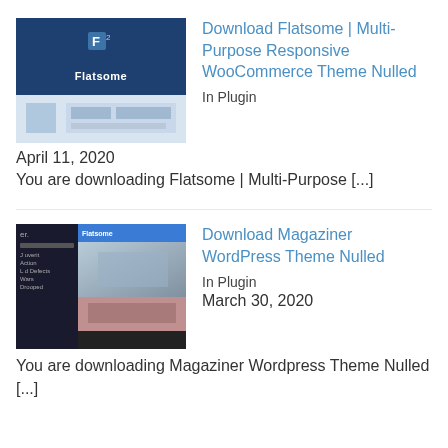[Figure (screenshot): Thumbnail for Flatsome theme - dark blue background with F logo and Flatsome text, bottom shows website screenshot]
Download Flatsome | Multi-Purpose Responsive WooCommerce Theme Nulled
In Plugin
April 11, 2020
You are downloading Flatsome | Multi-Purpose [...]
[Figure (screenshot): Thumbnail for Magaziner WordPress theme - dark background with sidebar menu and magazine layout with photo]
Download Magaziner WordPress Theme Nulled
In Plugin
March 30, 2020
You are downloading Magaziner Wordpress Theme Nulled [...]